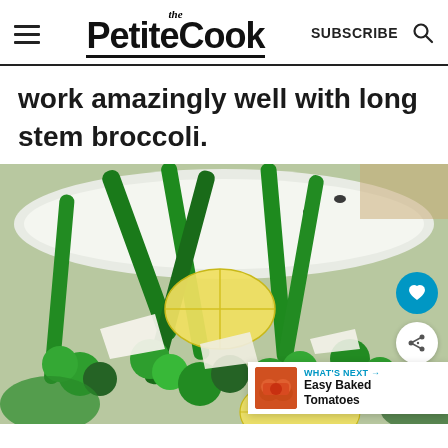the PetiteCook  SUBSCRIBE
work amazingly well with long stem broccoli.
[Figure (photo): Close-up photo of long stem broccoli (tenderstem/broccolini) in a white bowl with lemon wedges and shaved parmesan cheese, drizzled with olive oil. The broccoli is bright green. There is a heart (save) button and a share button overlaid on the right side of the image, plus a 'What's Next → Easy Baked Tomatoes' banner in the lower right corner.]